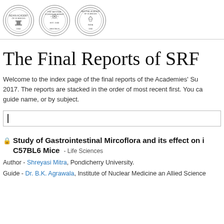[Figure (logo): Three institutional logos/seals of Indian academies of science arranged horizontally]
The Final Reports of SRF
Welcome to the index page of the final reports of the Academies' Summer Research Fellowship (SRF) programme from 2011 to 2017. The reports are stacked in the order of most recent first. You can search by fellow name, guide name, or by subject.
Study of Gastrointestinal Mircoflora and its effect on immunity in C57BL6 Mice - Life Sciences
Author - Shreyasi Mitra, Pondicherry University.
Guide - Dr. B.K. Agrawala, Institute of Nuclear Medicine an Allied Sciences